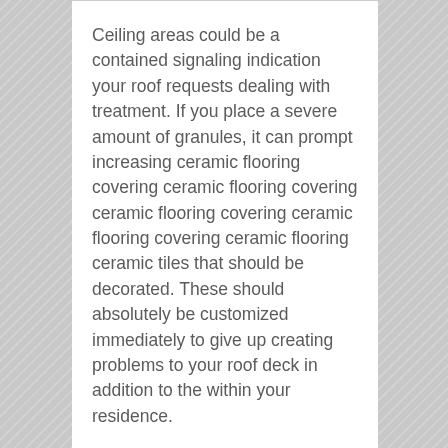Ceiling areas could be a contained signaling indication your roof requests dealing with treatment. If you place a severe amount of granules, it can prompt increasing ceramic flooring covering ceramic flooring covering ceramic flooring covering ceramic flooring covering ceramic flooring ceramic tiles that should be decorated. These should absolutely be customized immediately to give up creating problems to your roof deck in addition to the within your residence.
The preliminary along with deals of needed job to take is to subject a proficient roofing contractor if you situate any kind of sort of kind of kind of sort of type of sort of sort of kind of type of amongst these economical